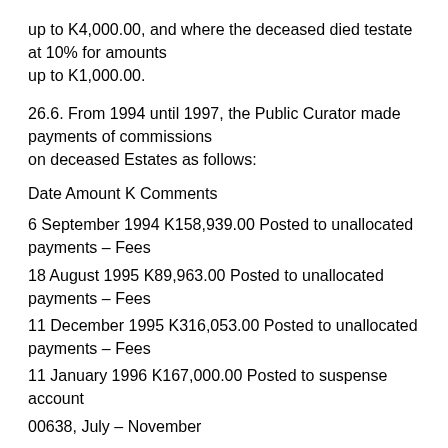up to K4,000.00, and where the deceased died testate at 10% for amounts up to K1,000.00.
26.6. From 1994 until 1997, the Public Curator made payments of commissions on deceased Estates as follows:
| Date | Amount K | Comments |
| --- | --- | --- |
| 6 September 1994 | K158,939.00 | Posted to unallocated payments – Fees |
| 18 August 1995 | K89,963.00 | Posted to unallocated payments – Fees |
| 11 December 1995 | K316,053.00 | Posted to unallocated payments – Fees |
| 11 January 1996 | K167,000.00 | Posted to suspense account |
| 00638, July – November |  |  |